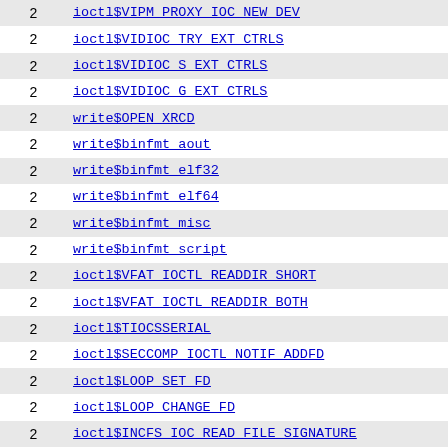|  |  |
| --- | --- |
| 2 | ioctl$VIPM_PROXY_IOC_NEW_DEV |
| 2 | ioctl$VIDIOC_TRY_EXT_CTRLS |
| 2 | ioctl$VIDIOC_S_EXT_CTRLS |
| 2 | ioctl$VIDIOC_G_EXT_CTRLS |
| 2 | write$OPEN_XRCD |
| 2 | write$binfmt_aout |
| 2 | write$binfmt_elf32 |
| 2 | write$binfmt_elf64 |
| 2 | write$binfmt_misc |
| 2 | write$binfmt_script |
| 2 | ioctl$VFAT_IOCTL_READDIR_SHORT |
| 2 | ioctl$VFAT_IOCTL_READDIR_BOTH |
| 2 | ioctl$TIOCSSERIAL |
| 2 | ioctl$SECCOMP_IOCTL_NOTIF_ADDFD |
| 2 | ioctl$LOOP_SET_FD |
| 2 | ioctl$LOOP_CHANGE_FD |
| 2 | ioctl$INCFS_IOC_READ_FILE_SIGNATURE |
| 2 | ioctl$INCFS_IOC_PERMIT_FILL |
| 2 | ioctl$INCFS_IOC_GET_FILLED_BLOCKS |
| 2 | ioctl$INCFS_IOC_FILL_BLOCKS |
| 2 | ioctl$INCFS_IOC_CREATE_FILE |